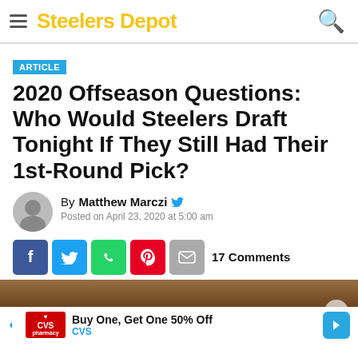Steelers Depot
ARTICLE
2020 Offseason Questions: Who Would Steelers Draft Tonight If They Still Had Their 1st-Round Pick?
By Matthew Marczi
Posted on April 23, 2020 at 5:00 am
17 Comments
[Figure (photo): Stadium/city night image at bottom of page with CVS advertisement overlay]